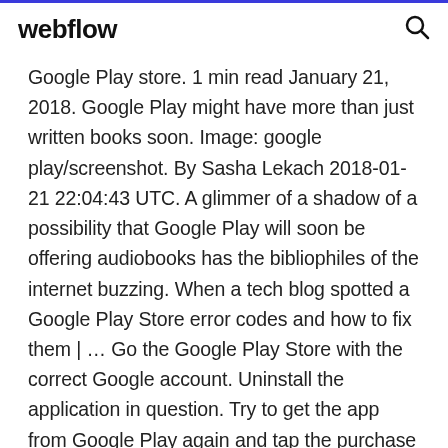webflow
Google Play store. 1 min read January 21, 2018. Google Play might have more than just written books soon. Image: google play/screenshot. By Sasha Lekach 2018-01-21 22:04:43 UTC. A glimmer of a shadow of a possibility that Google Play will soon be offering audiobooks has the bibliophiles of the internet buzzing. When a tech blog spotted a Google Play Store error codes and how to fix them | … Go the Google Play Store with the correct Google account. Uninstall the application in question. Try to get the app from Google Play again and tap the purchase button. Second solution. Clear the Google Play Store Material Theme redesign is now …